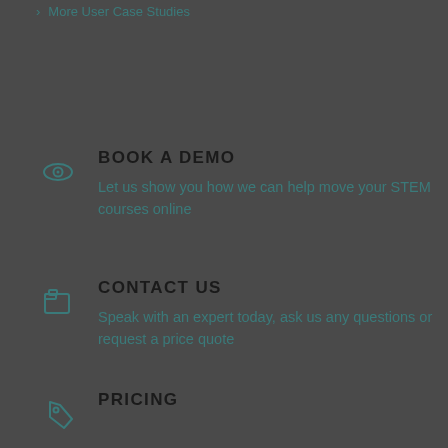More User Case Studies
BOOK A DEMO
Let us show you how we can help move your STEM courses online
CONTACT US
Speak with an expert today, ask us any questions or request a price quote
PRICING